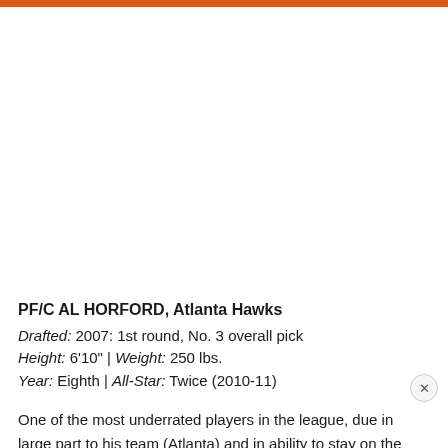PF/C AL HORFORD, Atlanta Hawks
Drafted: 2007: 1st round, No. 3 overall pick
Height: 6'10" | Weight: 250 lbs.
Year: Eighth | All-Star: Twice (2010-11)
One of the most underrated players in the league, due in large part to his team (Atlanta) and in ability to stay on the court, Horford has become the Hawks' unquestioned leader and go to player. In just 29 games last season, the second in three